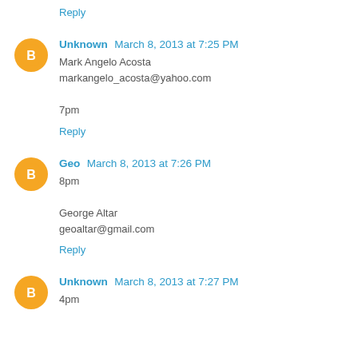Reply
Unknown  March 8, 2013 at 7:25 PM
Mark Angelo Acosta
markangelo_acosta@yahoo.com

7pm
Reply
Geo  March 8, 2013 at 7:26 PM
8pm

George Altar
geoaltar@gmail.com
Reply
Unknown  March 8, 2013 at 7:27 PM
4pm